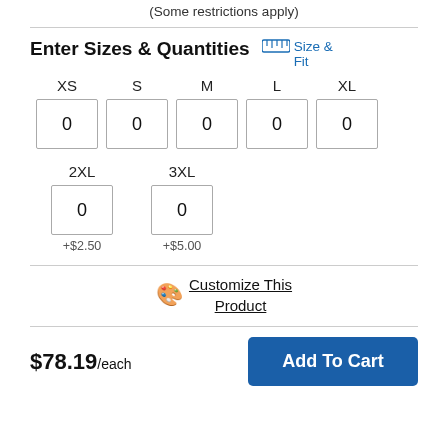(Some restrictions apply)
Enter Sizes & Quantities
Size & Fit
| XS | S | M | L | XL |
| --- | --- | --- | --- | --- |
| 0 | 0 | 0 | 0 | 0 |
| 2XL | 3XL |
| --- | --- |
| 0 | 0 |
| +$2.50 | +$5.00 |
Customize This Product
$78.19/each
Add To Cart